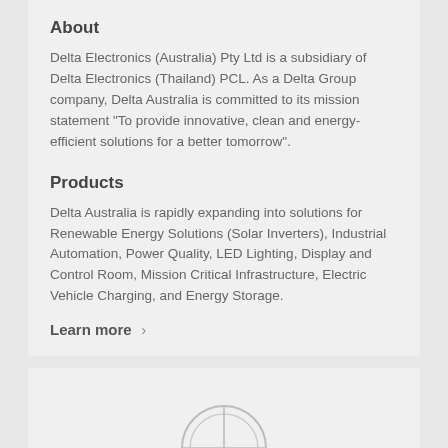About
Delta Electronics (Australia) Pty Ltd is a subsidiary of Delta Electronics (Thailand) PCL. As a Delta Group company, Delta Australia is committed to its mission statement “To provide innovative, clean and energy-efficient solutions for a better tomorrow”.
Products
Delta Australia is rapidly expanding into solutions for Renewable Energy Solutions (Solar Inverters), Industrial Automation, Power Quality, LED Lighting, Display and Control Room, Mission Critical Infrastructure, Electric Vehicle Charging, and Energy Storage.
Learn more ›
[Figure (logo): Partial circular logo/emblem visible at bottom of page]